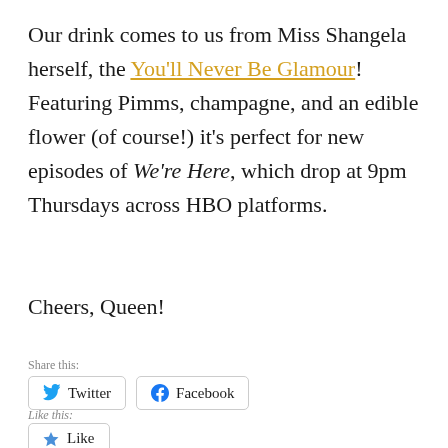Our drink comes to us from Miss Shangela herself, the You'll Never Be Glamour! Featuring Pimms, champagne, and an edible flower (of course!) it's perfect for new episodes of We're Here, which drop at 9pm Thursdays across HBO platforms.
Cheers, Queen!
Share this:
Like this: